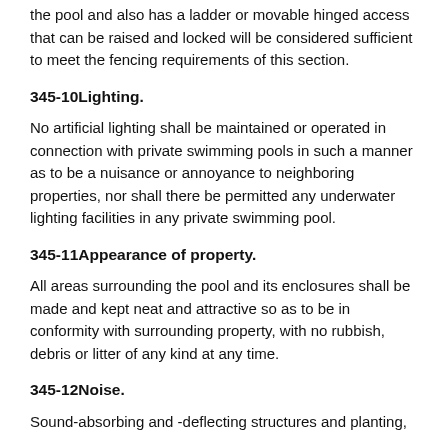the pool and also has a ladder or movable hinged access that can be raised and locked will be considered sufficient to meet the fencing requirements of this section.
345-10Lighting.
No artificial lighting shall be maintained or operated in connection with private swimming pools in such a manner as to be a nuisance or annoyance to neighboring properties, nor shall there be permitted any underwater lighting facilities in any private swimming pool.
345-11Appearance of property.
All areas surrounding the pool and its enclosures shall be made and kept neat and attractive so as to be in conformity with surrounding property, with no rubbish, debris or litter of any kind at any time.
345-12Noise.
Sound-absorbing and -deflecting structures and planting,